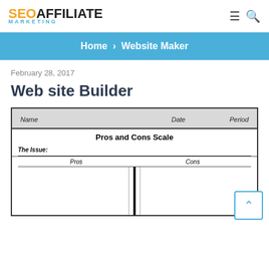SEO AFFILIATE MARKETING
Home › Website Maker
February 28, 2017
Web site Builder
[Figure (other): Pros and Cons Scale worksheet template with Name, Date, Period header row. Below: 'Pros and Cons Scale' title, 'The Issue:' label, a horizontal divider, Pros and Cons column labels, and a vertical balance scale bar dividing two blank columns.]